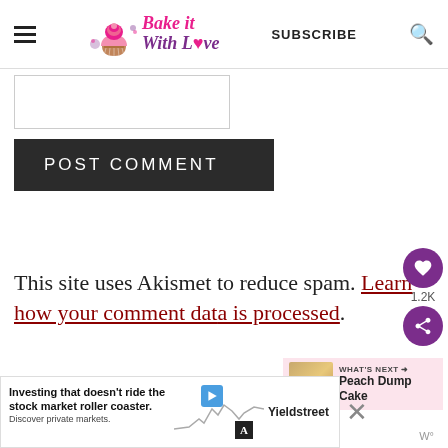Bake it With Love — SUBSCRIBE
[Figure (screenshot): Empty comment textarea input box]
POST COMMENT
This site uses Akismet to reduce spam. Learn how your comment data is processed.
[Figure (infographic): Social sidebar with heart icon (1.2K), share icon, and What's Next promo for Peach Dump Cake]
[Figure (infographic): Yieldstreet advertisement: Investing that doesn't ride the stock market roller coaster. Discover private markets.]